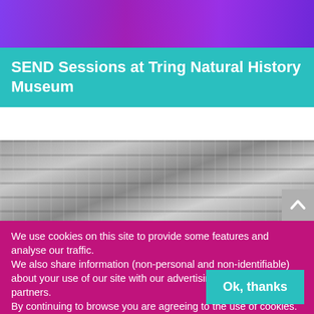[Figure (photo): Top portion of a webpage showing a colorful purple/magenta image with a person in a patterned outfit under UV/neon lighting]
SEND Sessions at Tring Natural History Museum
[Figure (photo): Black and white photograph of a winter woodland scene with bare trees and frost/snow]
We use cookies on this site to provide some features and analyse our traffic.
We also share information (non-personal and non-identifiable) about your use of our site with our advertising and analytics partners.
By continuing to browse you are agreeing to the use of cookies. Read more about how we use cookies and how to block them
Ok, thanks